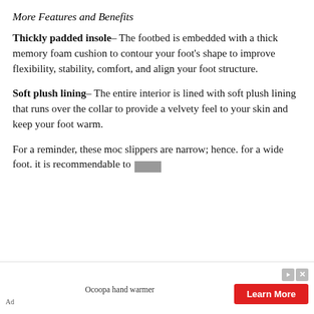More Features and Benefits
Thickly padded insole– The footbed is embedded with a thick memory foam cushion to contour your foot's shape to improve flexibility, stability, comfort, and align your foot structure.
Soft plush lining– The entire interior is lined with soft plush lining that runs over the collar to provide a velvety feel to your skin and keep your foot warm.
For a reminder, these moc slippers are narrow; hence. for a wide foot. it is recommendable to go
[Figure (other): Advertisement banner: Ocoopa hand warmer with red 'Learn More' button and gray close/play icons. 'Ad' label at bottom left.]